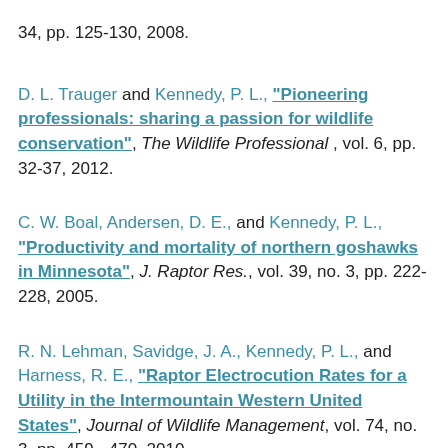34, pp. 125-130, 2008.
D. L. Trauger and Kennedy, P. L., "Pioneering professionals: sharing a passion for wildlife conservation", The Wildlife Professional, vol. 6, pp. 32-37, 2012.
C. W. Boal, Andersen, D. E., and Kennedy, P. L., "Productivity and mortality of northern goshawks in Minnesota", J. Raptor Res., vol. 39, no. 3, pp. 222-228, 2005.
R. N. Lehman, Savidge, J. A., Kennedy, P. L., and Harness, R. E., "Raptor Electrocution Rates for a Utility in the Intermountain Western United States", Journal of Wildlife Management, vol. 74, no. 3, pp. 459 - 470, 2010.